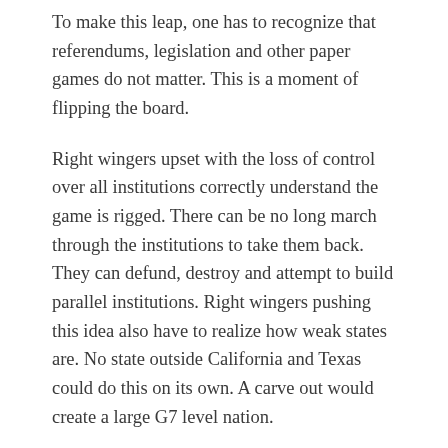To make this leap, one has to recognize that referendums, legislation and other paper games do not matter. This is a moment of flipping the board.
Right wingers upset with the loss of control over all institutions correctly understand the game is rigged. There can be no long march through the institutions to take them back. They can defund, destroy and attempt to build parallel institutions. Right wingers pushing this idea also have to realize how weak states are. No state outside California and Texas could do this on its own. A carve out would create a large G7 level nation.
Individual states are weak, which is why coordination matters. A lot of funding for services in states comes from federal revenues. Governors themselves are often